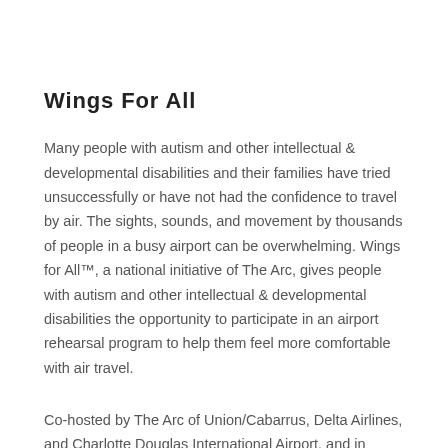Wings For All
Many people with autism and other intellectual & developmental disabilities and their families have tried unsuccessfully or have not had the confidence to travel by air. The sights, sounds, and movement by thousands of people in a busy airport can be overwhelming. Wings for All™, a national initiative of The Arc, gives people with autism and other intellectual & developmental disabilities the opportunity to participate in an airport rehearsal program to help them feel more comfortable with air travel.
Co-hosted by The Arc of Union/Cabarrus, Delta Airlines, and Charlotte Douglas International Airport, and in